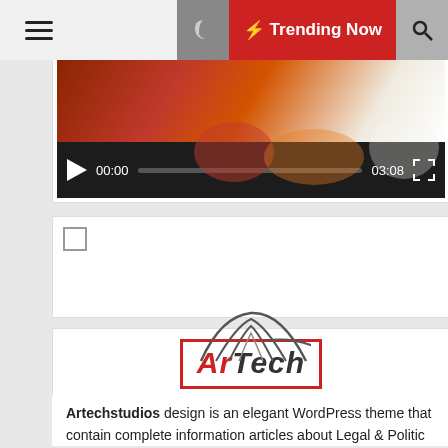≡  [moon icon]  ⚡ Trending Now  🔍
[Figure (screenshot): Video player showing a thumbnail with person in orange/red outfit, video controls showing 00:00 current time, progress bar, 03:08 duration, and fullscreen button on dark control bar]
[Figure (screenshot): Empty widget/ad placeholder with a small checkbox in upper left corner]
[Figure (logo): ArTech logo with red rectangular border, stylized wing/arch graphic in dark gray, 'Ar' in red and 'Tech' in dark gray italic bold text, tagline 'Lead The Next Generation' in blue italic]
Artechstudios design is an elegant WordPress theme that contain complete information articles about Legal & Politic